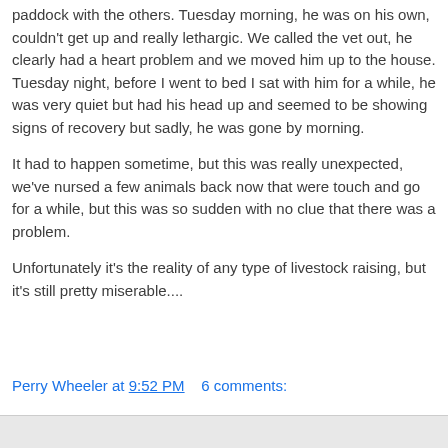paddock with the others. Tuesday morning, he was on his own, couldn't get up and really lethargic. We called the vet out, he clearly had a heart problem and we moved him up to the house. Tuesday night, before I went to bed I sat with him for a while, he was very quiet but had his head up and seemed to be showing signs of recovery but sadly, he was gone by morning.
It had to happen sometime, but this was really unexpected, we've nursed a few animals back now that were touch and go for a while, but this was so sudden with no clue that there was a problem.
Unfortunately it's the reality of any type of livestock raising, but it's still pretty miserable....
Perry Wheeler at 9:52 PM    6 comments: